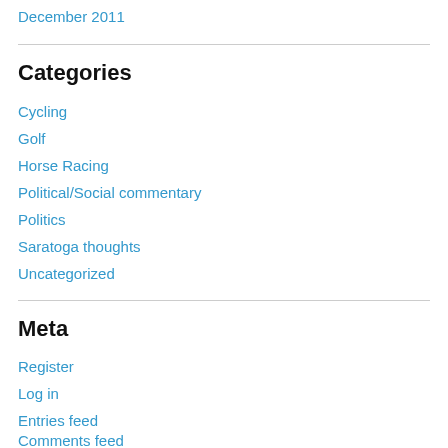December 2011
Categories
Cycling
Golf
Horse Racing
Political/Social commentary
Politics
Saratoga thoughts
Uncategorized
Meta
Register
Log in
Entries feed
Comments feed
WordPress.com